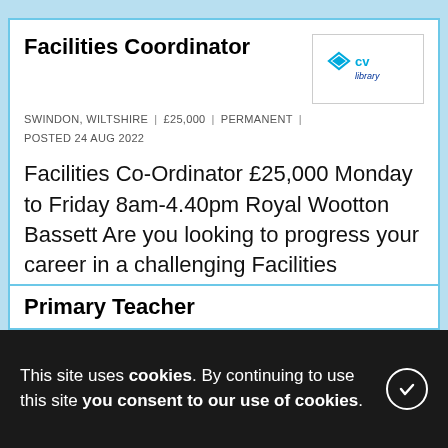Facilities Coordinator
SWINDON, WILTSHIRE | £25,000 | PERMANENT | POSTED 24 AUG 2022
Facilities Co-Ordinator £25,000 Monday to Friday 8am-4.40pm Royal Wootton Bassett Are you looking to progress your career in a challenging Facilities Coordinator position which offers a strong career path for career progression? My client is currently...
Add to shortlist
This site uses cookies. By continuing to use this site you consent to our use of cookies.
Primary Teacher